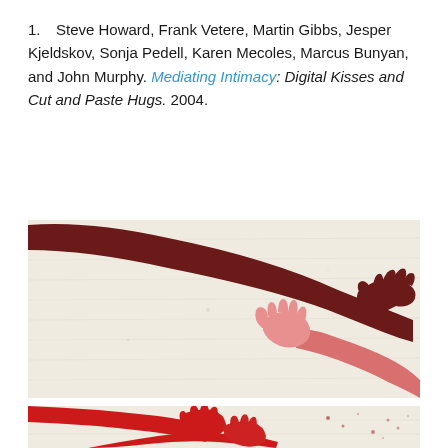Steve Howard, Frank Vetere, Martin Gibbs, Jesper Kjeldskov, Sonja Pedell, Karen Mecoles, Marcus Bunyan, and John Murphy. Mediating Intimacy: Digital Kisses and Cut and Paste Hugs. 2004.
[Figure (illustration): Painting/artwork showing two stylized hands reaching toward each other — a large dark red/maroon arm extending from the upper left with a hand reaching right, and a smaller pink/light red hand reaching up from the lower right to meet it, on a pale off-white textured background.]
[Figure (illustration): Partial view of another painting showing bright red stylized hands/arms on a pale textured background, cropped at the bottom of the page.]